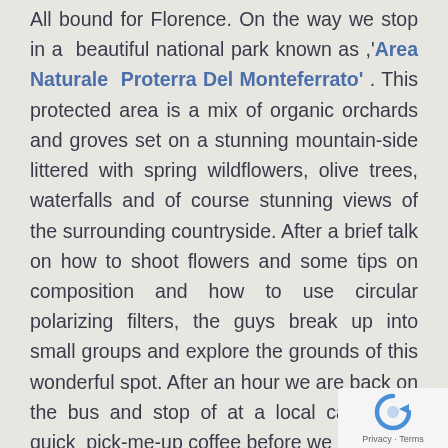All bound for Florence. On the way we stop in a beautiful national park known as ,'Area Naturale Proterra Del Monteferrato' . This protected area is a mix of organic orchards and groves set on a stunning mountain-side littered with spring wildflowers, olive trees, waterfalls and of course stunning views of the surrounding countryside. After a brief talk on how to shoot flowers and some tips on composition and how to use circular polarizing filters, the guys break up into small groups and explore the grounds of this wonderful spot. After an hour we are back on the bus and stop of at a local cafe for a quick pick-me-up coffee before we are